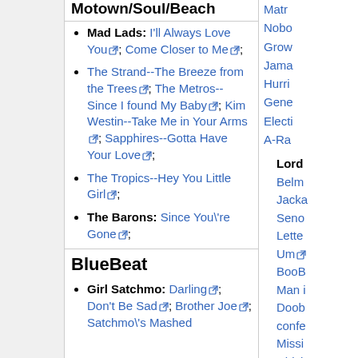Motown/Soul/Beach
Mad Lads: I'll Always Love You; Come Closer to Me;
The Strand--The Breeze from the Trees; The Metros--Since I found My Baby; Kim Westin--Take Me in Your Arms; Sapphires--Gotta Have Your Love;
The Tropics--Hey You Little Girl;
The Barons: Since You\'re Gone;
BlueBeat
Girl Satchmo: Darling; Don't Be Sad; Brother Joe; Satchmo\'s Mashed
Matr
Nobo
Grow
Jama
Hurri
Gene
Electi
A-Ra
Lord
Belm
Jacka
Seno
Lette
Um
BooB
Man i
Doob
confe
Missi
Chick